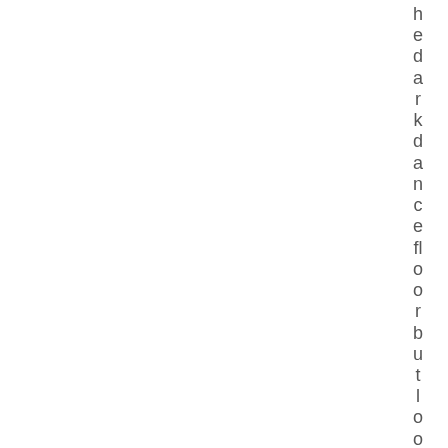hedarkdancefloorbutlookedreally c